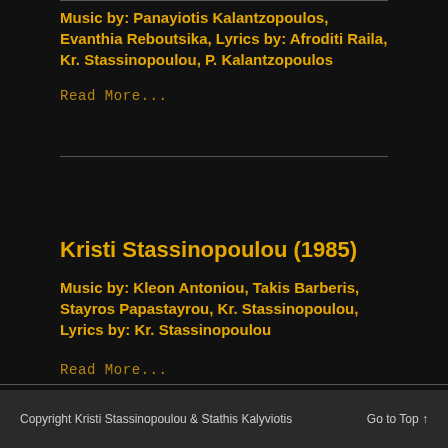Music by: Panayiotis Kalantzopoulos, Evanthia Reboutsika, Lyrics by: Afroditi Raila, Kr. Stassinopoulou, P. Kalantzopoulos
Read More...
Kristi Stassinopoulou (1985)
Music by: Kleon Antoniou, Takis Barberis, Stayros Papastayrou, Kr. Stassinopoulou, Lyrics by: Kr. Stassinopoulou
Read More...
Copyright Kristi Stassinopoulou & Stathis Kalyviotis    Go to Top ↑